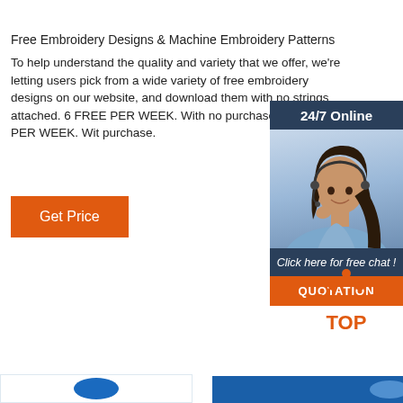Free Embroidery Designs & Machine Embroidery Patterns
To help understand the quality and variety that we offer, we're letting users pick from a wide variety of free embroidery designs on our website, and download them with no strings attached. 6 FREE PER WEEK. With no purchase. 6 FREE PER WEEK. With no purchase.
[Figure (infographic): 24/7 Online chat widget with woman wearing headset and quotation button]
[Figure (infographic): TOP button with orange dot arrow icon]
[Figure (other): Bottom strip left - embroidery logo partial]
[Figure (other): Bottom strip right - blue banner partial]